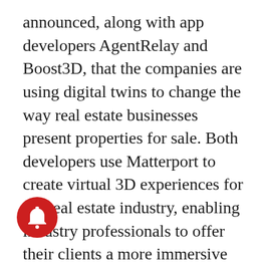announced, along with app developers AgentRelay and Boost3D, that the companies are using digital twins to change the way real estate businesses present properties for sale. Both developers use Matterport to create virtual 3D experiences for the real estate industry, enabling industry professionals to offer their clients a more immersive home buying experience.
“Companies across a wide range of sectors are recognizing the value of …ing high-quality, dimensionally-…curate digital twins to enhance how they…